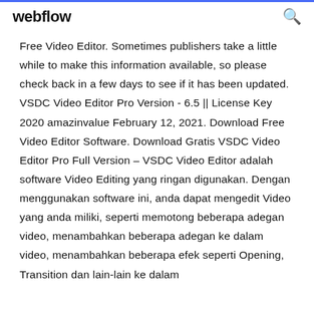webflow
Free Video Editor. Sometimes publishers take a little while to make this information available, so please check back in a few days to see if it has been updated. VSDC Video Editor Pro Version - 6.5 || License Key 2020 amazinvalue February 12, 2021. Download Free Video Editor Software. Download Gratis VSDC Video Editor Pro Full Version – VSDC Video Editor adalah software Video Editing yang ringan digunakan. Dengan menggunakan software ini, anda dapat mengedit Video yang anda miliki, seperti memotong beberapa adegan video, menambahkan beberapa adegan ke dalam video, menambahkan beberapa efek seperti Opening, Transition dan lain-lain ke dalam